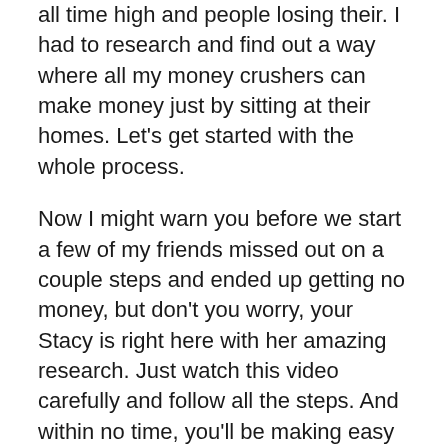all time high and people losing their. I had to research and find out a way where all my money crushers can make money just by sitting at their homes. Let's get started with the whole process.
Now I might warn you before we start a few of my friends missed out on a couple steps and ended up getting no money, but don't you worry, your Stacy is right here with her amazing research. Just watch this video carefully and follow all the steps. And within no time, you'll be making easy $500 in a day.
So to begin, I want you to head over tos.com. This is a free website that provides you with free stock photos that you can use anywhere you like. Now,